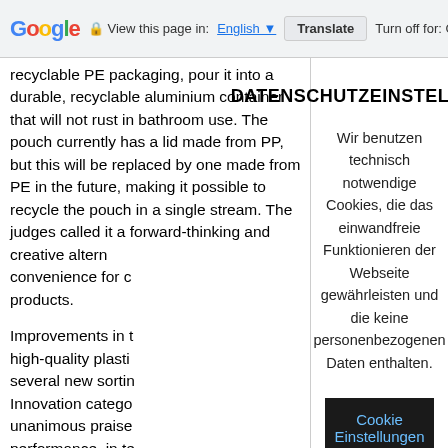Google  View this page in: English  Translate  Turn off for: G
recyclable PE packaging, pour it into a durable, recyclable aluminium container that will not rust in bathroom use. The pouch currently has a lid made from PP, but this will be replaced by one made from PE in the future, making it possible to recycle the pouch in a single stream. The judges called it a forward-thinking and creative altern... convenience for c... products.
Improvements in t... high-quality plasti... several new sortin... Innovation catego... unanimous praise... performance, in te... which is achieved... sophisticated tech... its category.
The winners each... from 100% recycled ABS plastic car dashboards and the multi-
DATENSCHUTZEINSTELLUNGEN
Wir benutzen technisch notwendige Cookies, die das einwandfreie Funktionieren der Webseite gewährleisten und die keine personenbezogenen Daten enthalten.
Cookie Einstellungen
AKZEPTIEREN